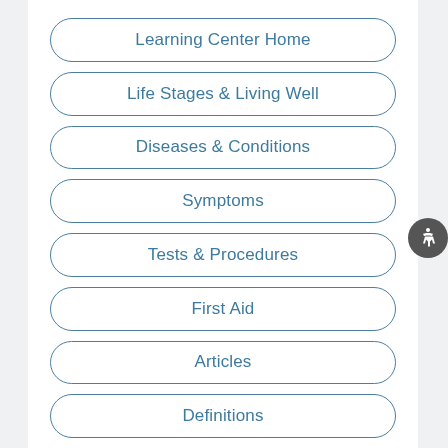Learning Center Home
Life Stages & Living Well
Diseases & Conditions
Symptoms
Tests & Procedures
First Aid
Articles
Definitions